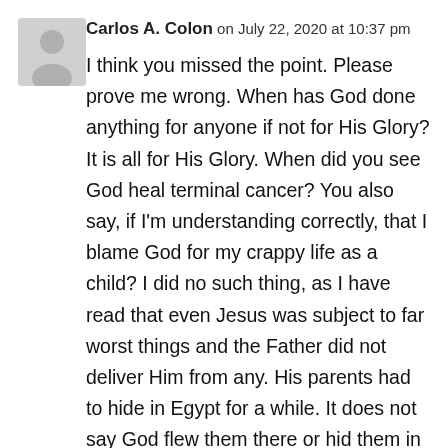[Figure (illustration): Gray circular avatar placeholder with a generic person silhouette icon]
Carlos A. Colon on July 22, 2020 at 10:37 pm
I think you missed the point. Please prove me wrong. When has God done anything for anyone if not for His Glory? It is all for His Glory. When did you see God heal terminal cancer? You also say, if I'm understanding correctly, that I blame God for my crappy life as a child? I did no such thing, as I have read that even Jesus was subject to far worst things and the Father did not deliver Him from any. His parents had to hide in Egypt for a while. It does not say God flew them there or hid them in plain sight with His Spirit. You see, I expect nothing, and I'm now self made. I never said I was not well off. I have all the things I